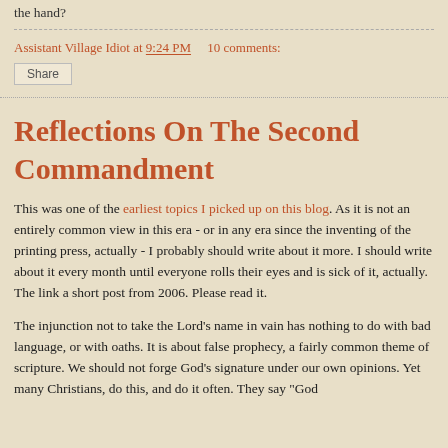the hand?
Assistant Village Idiot at 9:24 PM    10 comments:
Share
Reflections On The Second Commandment
This was one of the earliest topics I picked up on this blog. As it is not an entirely common view in this era - or in any era since the inventing of the printing press, actually - I probably should write about it more. I should write about it every month until everyone rolls their eyes and is sick of it, actually. The link a short post from 2006. Please read it.
The injunction not to take the Lord's name in vain has nothing to do with bad language, or with oaths. It is about false prophecy, a fairly common theme of scripture. We should not forge God's signature under our own opinions. Yet many Christians, do this, and do it often. They say "God